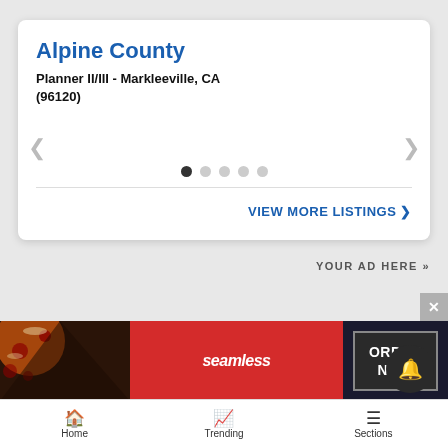Alpine County
Planner II/III - Markleeville, CA (96120)
VIEW MORE LISTINGS ›
YOUR AD HERE »
[Figure (screenshot): Seamless food delivery ad banner with pizza image, red Seamless logo, and ORDER NOW button]
Home  Trending  Sections